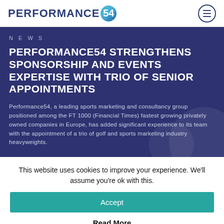PERFORMANCE54
NEWS
PERFORMANCE54 STRENGTHENS SPONSORSHIP AND EVENTS EXPERTISE WITH TRIO OF SENIOR APPOINTMENTS
Performance54, a leading sports marketing and consultancy group positioned among the FT 1000 (Financial Times) fastest growing privately owned companies in Europe, has added significant experience to its team with the appointment of a trio of golf and sports marketing industry heavyweights.
This website uses cookies to improve your experience. We'll assume you're ok with this.
Accept
Read More